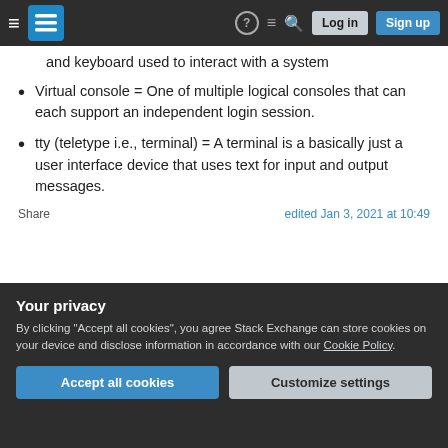Stack Exchange navigation bar with logo, icons, Log in and Sign up buttons
and keyboard used to interact with a system
Virtual console = One of multiple logical consoles that can each support an independent login session.
tty (teletype i.e., terminal) = A terminal is a basically just a user interface device that uses text for input and output messages.
Share	edited Jan 3, 2021 at 10:49
Your privacy
By clicking "Accept all cookies", you agree Stack Exchange can store cookies on your device and disclose information in accordance with our Cookie Policy.
Accept all cookies	Customize settings